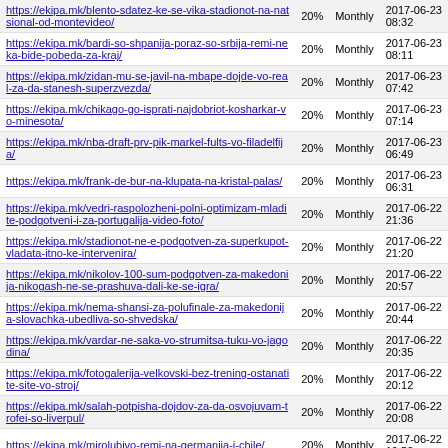| URL | Priority | Change Frequency | Last Modified |
| --- | --- | --- | --- |
| https://ekipa.mk/blento-sdatez-ke-se-vika-stadionot-na-natsional-od-montevideo/ | 20% | Monthly | 2017-06-23 08:32 |
| https://ekipa.mk/bardi-so-shpanija-poraz-so-srbija-remi-neka-bide-pobeda-za-kraj/ | 20% | Monthly | 2017-06-23 08:11 |
| https://ekipa.mk/zidan-mu-se-javil-na-mbape-dojde-vo-real-za-da-stanesh-superzvezda/ | 20% | Monthly | 2017-06-23 07:42 |
| https://ekipa.mk/chikago-go-isprati-najdobriot-kosharkar-vo-minesota/ | 20% | Monthly | 2017-06-23 07:14 |
| https://ekipa.mk/nba-draft-prv-pik-markel-fults-vo-filadelfija/ | 20% | Monthly | 2017-06-23 06:49 |
| https://ekipa.mk/frank-de-bur-na-klupata-na-kristal-palas/ | 20% | Monthly | 2017-06-23 06:31 |
| https://ekipa.mk/vedri-raspolozheni-polni-optimizam-mladite-podgotveni-i-za-portugalija-video-foto/ | 20% | Monthly | 2017-06-22 21:36 |
| https://ekipa.mk/stadionot-ne-e-podgotven-za-superkupot-vladata-itno-ke-intervenira/ | 20% | Monthly | 2017-06-22 21:20 |
| https://ekipa.mk/nikolov-100-sum-podgotven-za-makedonija-nikogash-ne-se-prashuva-dali-ke-se-igra/ | 20% | Monthly | 2017-06-22 20:57 |
| https://ekipa.mk/nema-shansi-za-polufinale-za-makedonija-slovachka-ubedliva-so-shvedska/ | 20% | Monthly | 2017-06-22 20:44 |
| https://ekipa.mk/vardar-ne-saka-vo-strumitsa-tuku-vo-jagodina/ | 20% | Monthly | 2017-06-22 20:35 |
| https://ekipa.mk/fotogalerija-velkovski-bez-trening-ostanatite-site-vo-stroj/ | 20% | Monthly | 2017-06-22 20:12 |
| https://ekipa.mk/salah-potpisha-dojdov-za-da-osvojuvam-trofei-so-liverpul/ | 20% | Monthly | 2017-06-22 20:08 |
| https://ekipa.mk/mirolubivo-remi-na-germanija-i-chile/ | 20% | Monthly | 2017-06-22 19:52 |